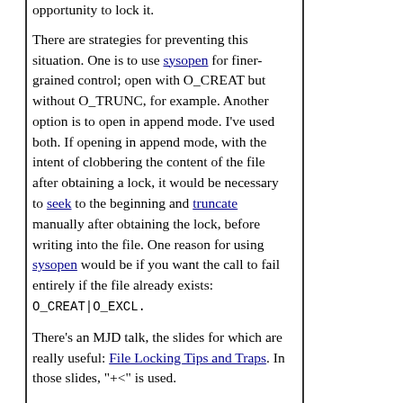opportunity to lock it.
There are strategies for preventing this situation. One is to use sysopen for finer-grained control; open with O_CREAT but without O_TRUNC, for example. Another option is to open in append mode. I've used both. If opening in append mode, with the intent of clobbering the content of the file after obtaining a lock, it would be necessary to seek to the beginning and truncate manually after obtaining the lock, before writing into the file. One reason for using sysopen would be if you want the call to fail entirely if the file already exists: O_CREAT|O_EXCL.
There's an MJD talk, the slides for which are really useful: File Locking Tips and Traps. In those slides, "+<" is used.
I think I gave a YAPC talk on